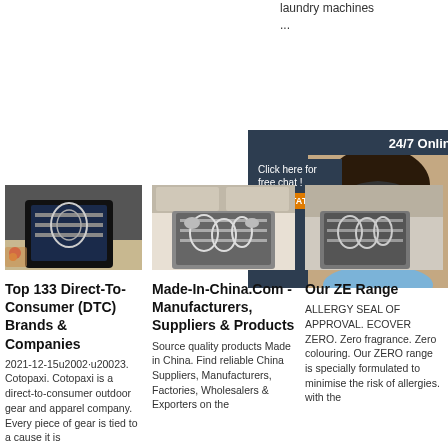laundry machines
...
Get Price
24/7 Online
[Figure (photo): Customer service agent woman smiling with headset, chat overlay with Click here for free chat! and QUOTATION button]
[Figure (photo): Compact countertop dishwasher on kitchen counter with dishes inside]
Top 133 Direct-To-Consumer (DTC) Brands & Companies
2021-12-15u2002·u20023. Cotopaxi. Cotopaxi is a direct-to-consumer outdoor gear and apparel company. Every piece of gear is tied to a cause it is ...
[Figure (photo): Open dishwasher full of dishes in a kitchen]
Made-In-China.Com - Manufacturers, Suppliers & Products
Source quality products Made in China. Find reliable China Suppliers, Manufacturers, Factories, Wholesalers & Exporters on the ...
[Figure (photo): Open dishwasher with dishes]
Our ZERO Range
ALLERGY SEAL OF APPROVAL. ECOVER ZERO. Zero fragrance. Zero colouring. Our ZERO range is specially formulated to minimise the risk of allergies. with the ...